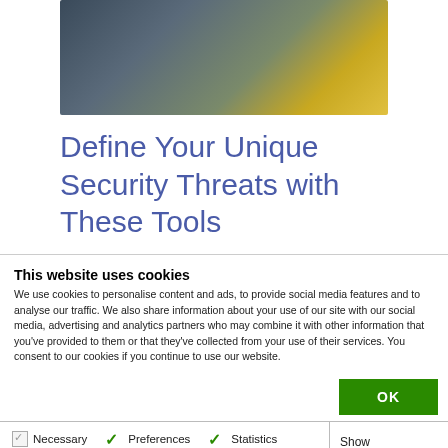[Figure (photo): Partial view of a photo showing what appears to be laptops or electronic devices from an aerial/top-down perspective with dark background and yellow accents]
Define Your Unique Security Threats with These Tools
This website uses cookies
We use cookies to personalise content and ads, to provide social media features and to analyse our traffic. We also share information about your use of our site with our social media, advertising and analytics partners who may combine it with other information that you've provided to them or that they've collected from your use of their services. You consent to our cookies if you continue to use our website.
OK
Necessary  Preferences  Statistics  Marketing  Show details